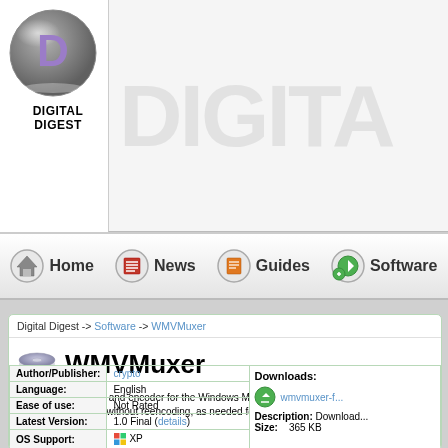[Figure (logo): Digital Digest logo: grey circle with letter D and text DIGITAL DIGEST below]
[Figure (screenshot): DIGITA watermark text in light grey on white background]
Home  News  Guides  Software
Digital Digest -> Software -> WMVMuxer
WMVMuxer
This is a new muxer and encoder for the Windows Media Format. WMVMuxer does AVI (WMV) to WMV conversion without reencoding, as needed for XBox 360 pl...
| Author/Publisher: | crypto |
| Language: | English |
| Ease of use: | Not Rated |
| Latest Version: | 1.0 Final (details) |
| OS Support: | XP |
| Downloads: |
| --- |
| wmvmuxer-f... |
| Description: Download |
| Size:    365 KB |